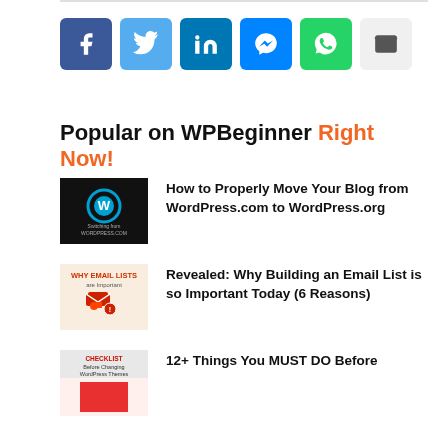[Figure (other): Social share buttons: Facebook (dark blue), Twitter (light blue), LinkedIn (dark blue), Messenger (blue), WhatsApp (green), Email (light gray)]
Popular on WPBeginner Right Now!
[Figure (other): Thumbnail: WordPress logo on black background with text 'Switching from WORDPRESS.COM']
How to Properly Move Your Blog from WordPress.com to WordPress.org
[Figure (other): Thumbnail: 'WHY EMAIL LISTS are Important' with envelope illustration on light background]
Revealed: Why Building an Email List is so Important Today (6 Reasons)
[Figure (other): Thumbnail: 'CHECKLIST Before Changing WordPress Themes' on red/white background]
12+ Things You MUST DO Before